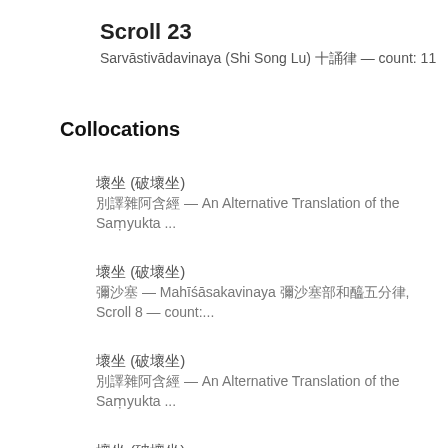Scroll 23
Sarvāstivādavinaya (Shi Song Lu) 十誦律 — count: 11
Collocations
壞坐 (破壞坐)
別譯雜阿含經 — An Alternative Translation of the Saṃyukta ...
壞坐 (破壞坐)
彌沙塞 — Mahīśāsakavinaya 彌沙塞部和醯五分律, Scroll 8 — count:...
壞坐 (破壞坐)
別譯雜阿含經 — An Alternative Translation of the Saṃyukta ...
壞坐 (破壞坐)
撰集百緣經 — Zhuanji Bai Yuan Jing (Avadānaśataka) 撰集百緣, ...
壞坐 (破壞坐)
別譯雜阿含經八 — An Alternative Translation of the Saṃyukt...